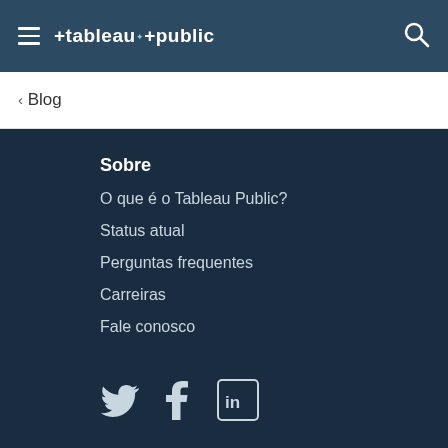tableau public
< Blog
Sobre
O que é o Tableau Public?
Status atual
Perguntas frequentes
Carreiras
Fale conosco
[Figure (infographic): Social media icons: Twitter (bird), Facebook (f), LinkedIn (in)]